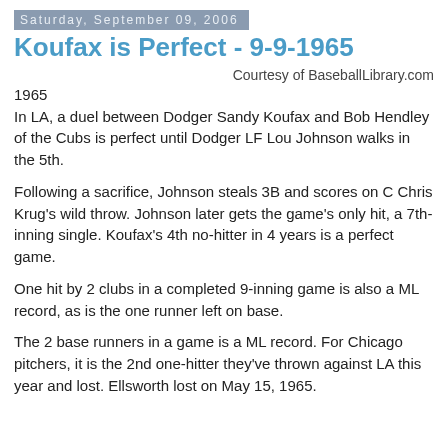Saturday, September 09, 2006
Koufax is Perfect - 9-9-1965
Courtesy of BaseballLibrary.com
1965
In LA, a duel between Dodger Sandy Koufax and Bob Hendley of the Cubs is perfect until Dodger LF Lou Johnson walks in the 5th.
Following a sacrifice, Johnson steals 3B and scores on C Chris Krug's wild throw. Johnson later gets the game's only hit, a 7th-inning single. Koufax's 4th no-hitter in 4 years is a perfect game.
One hit by 2 clubs in a completed 9-inning game is also a ML record, as is the one runner left on base.
The 2 base runners in a game is a ML record. For Chicago pitchers, it is the 2nd one-hitter they've thrown against LA this year and lost. Ellsworth lost on May 15, 1965.